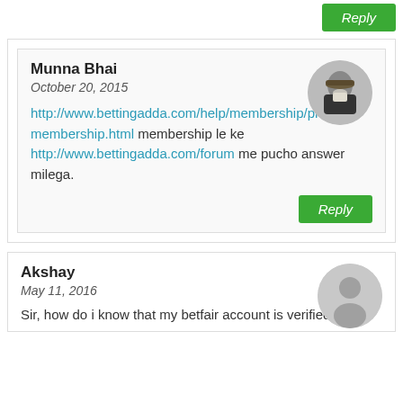Reply (top button)
Munna Bhai
October 20, 2015
http://www.bettingadda.com/help/membership/premium-membership.html membership le ke http://www.bettingadda.com/forum me pucho answer milega.
Reply (inner button)
Akshay
May 11, 2016
Sir, how do i know that my betfair account is verified?